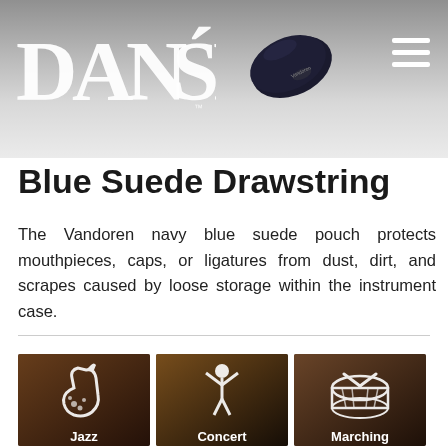DANSR
[Figure (photo): Navy blue suede pouch/case product image on gradient grey background header]
Blue Suede Drawstring
The Vandoren navy blue suede pouch protects mouthpieces, caps, or ligatures from dust, dirt, and scrapes caused by loose storage within the instrument case.
[Figure (photo): Three category tile images at bottom: Jazz (saxophone icon), Concert (conductor icon), Marching (drum icon)]